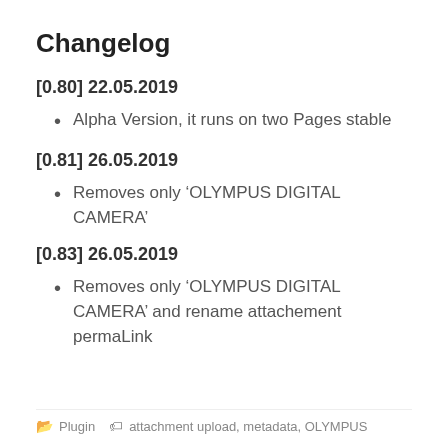Changelog
[0.80] 22.05.2019
Alpha Version, it runs on two Pages stable
[0.81] 26.05.2019
Removes only ‘OLYMPUS DIGITAL CAMERA’
[0.83] 26.05.2019
Removes only ‘OLYMPUS DIGITAL CAMERA’ and rename attachement permaLink
Plugin   attachment upload, metadata, OLYMPUS